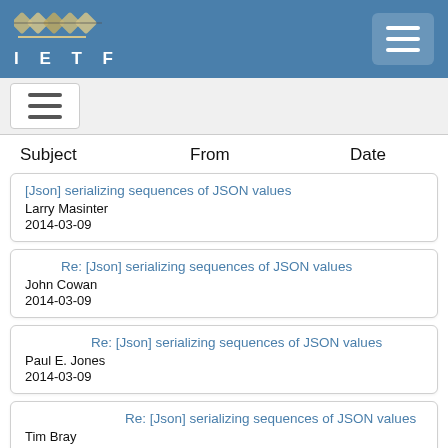IETF
[Json] serializing sequences of JSON values
Larry Masinter
2014-03-09
Re: [Json] serializing sequences of JSON values
John Cowan
2014-03-09
Re: [Json] serializing sequences of JSON values
Paul E. Jones
2014-03-09
Re: [Json] serializing sequences of JSON values
Tim Bray
2014-03-09